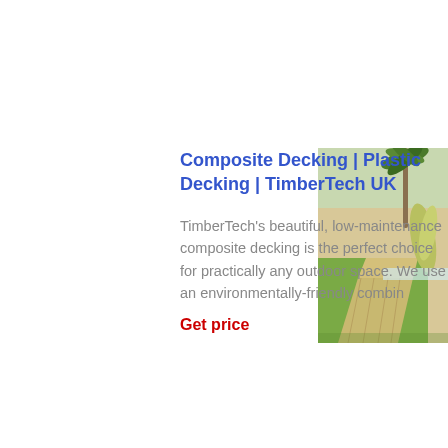Composite Decking | Plastic Decking | TimberTech UK
[Figure (photo): Outdoor garden/patio area with composite decking, green lawn and palm trees in background]
TimberTech's beautiful, low-maintenance composite decking is the perfect choice for practically any outdoor space. We use an environmentally-friendly combin
Get price